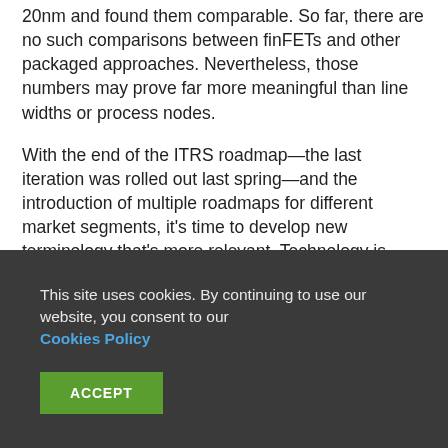20nm and found them comparable. So far, there are no such comparisons between finFETs and other packaged approaches. Nevertheless, those numbers may prove far more meaningful than line widths or process nodes.
With the end of the ITRS roadmap—the last iteration was rolled out last spring—and the introduction of multiple roadmaps for different market segments, it's time to develop new terminology that's more relevant. Technology is getting more complicated, and the problems that need to be solved are
This site uses cookies. By continuing to use our website, you consent to our Cookies Policy
ACCEPT